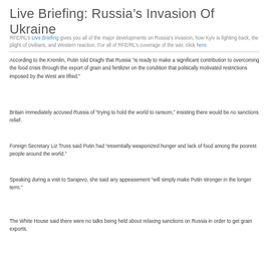Live Briefing: Russia’s Invasion Of Ukraine
RFE/RL’s Live Briefing gives you all of the major developments on Russia’s invasion, how Kyiv is fighting back, the plight of civilians, and Western reaction. For all of RFE/RL’s coverage of the war, click here.
According to the Kremlin, Putin told Draghi that Russia “is ready to make a significant contribution to overcoming the food crisis through the export of grain and fertilizer on the condition that politically motivated restrictions imposed by the West are lifted.”
Britain immediately accused Russia of “trying to hold the world to ransom,” insisting there would be no sanctions relief.
Foreign Secretary Liz Truss said Putin had “essentially weaponized hunger and lack of food among the poorest people around the world.”
Speaking during a visit to Sarajevo, she said any appeasement “will simply make Putin stronger in the longer term.”
The White House said there were no talks being held about relaxing sanctions on Russia in order to get grain exports.